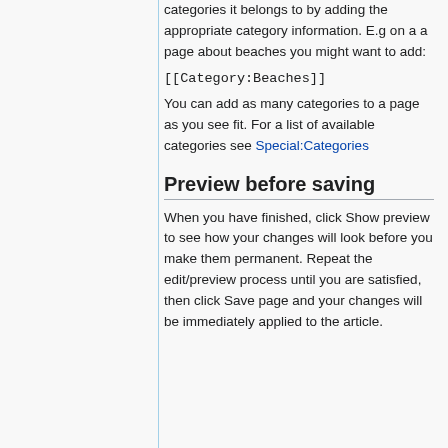categories it belongs to by adding the appropriate category information. E.g on a a page about beaches you might want to add:
[[Category:Beaches]]
You can add as many categories to a page as you see fit. For a list of available categories see Special:Categories
Preview before saving
When you have finished, click Show preview to see how your changes will look before you make them permanent. Repeat the edit/preview process until you are satisfied, then click Save page and your changes will be immediately applied to the article.